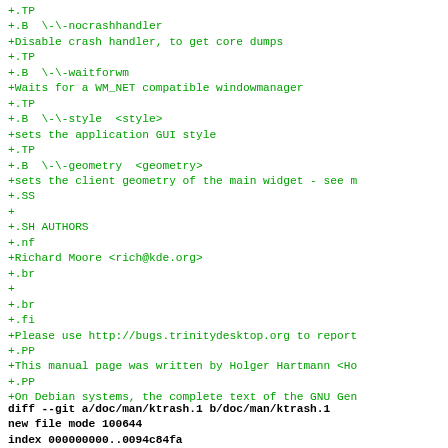+.TP
+.B  \-\-nocrashhandler
+Disable crash handler, to get core dumps
+.TP
+.B  \-\-waitforwm
+Waits for a WM_NET compatible windowmanager
+.TP
+.B  \-\-style  <style>
+sets the application GUI style
+.TP
+.B  \-\-geometry  <geometry>
+sets the client geometry of the main widget - see m
+.SS
+
+.SH AUTHORS
+.nf
+Richard Moore <rich@kde.org>
+.br
+
+.br
+.fi
+Please use http://bugs.trinitydesktop.org to report
+.PP
+This manual page was written by Holger Hartmann <Ho
+.PP
+On Debian systems, the complete text of the GNU Gen
diff --git a/doc/man/ktrash.1 b/doc/man/ktrash.1
new file mode 100644
index 000000000..0094c84fa